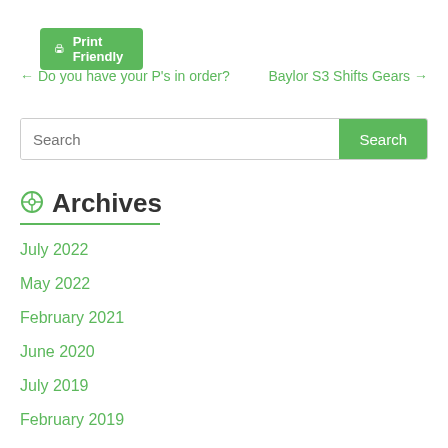[Figure (other): Print Friendly button with printer icon, green background, white text]
← Do you have your P's in order?   Baylor S3 Shifts Gears →
Search
Archives
July 2022
May 2022
February 2021
June 2020
July 2019
February 2019